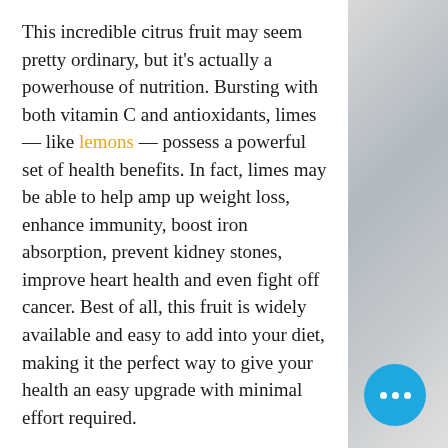This incredible citrus fruit may seem pretty ordinary, but it's actually a powerhouse of nutrition. Bursting with both vitamin C and antioxidants, limes — like lemons — possess a powerful set of health benefits. In fact, limes may be able to help amp up weight loss, enhance immunity, boost iron absorption, prevent kidney stones, improve heart health and even fight off cancer. Best of all, this fruit is widely available and easy to add into your diet, making it the perfect way to give your health an easy upgrade with minimal effort required.
Benefits of Limes
[Figure (photo): Blurred background photo of a white ceramic bowl or cup, visible on the right side of the page]